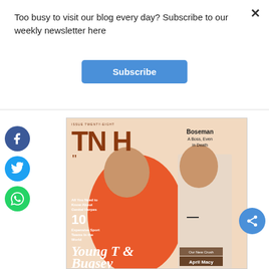Too busy to visit our blog every day? Subscribe to our weekly newsletter here
Subscribe
[Figure (screenshot): Magazine cover showing two young men, one in an orange fur coat, with the title 'Young T & Bugsey' and other cover lines]
[Figure (logo): Facebook social share circle icon]
[Figure (logo): Twitter social share circle icon]
[Figure (logo): WhatsApp social share circle icon]